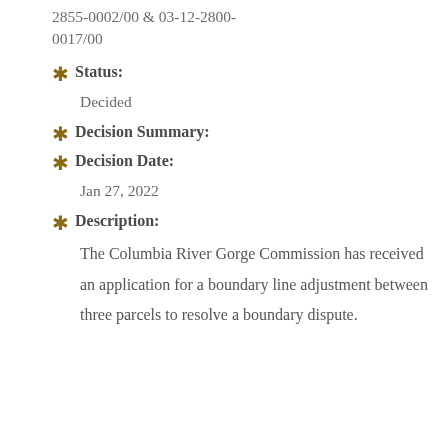2855-0002/00 & 03-12-2800-0017/00
Status: Decided
Decision Summary:
Decision Date: Jan 27, 2022
Description: The Columbia River Gorge Commission has received an application for a boundary line adjustment between three parcels to resolve a boundary dispute.